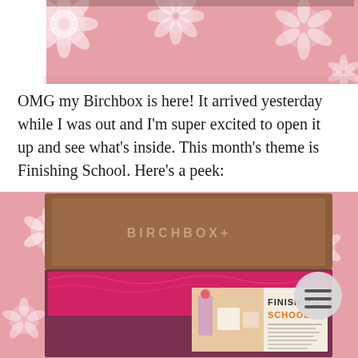[Figure (photo): Top portion of a pink floral fabric background, cropped at the bottom — appears to be the exterior of a Birchbox packaging or bedding with white floral pattern on pink background.]
OMG my Birchbox is here! It arrived yesterday while I was out and I'm super excited to open it up and see what's inside. This month's theme is Finishing School. Here's a peek:
[Figure (photo): Open Birchbox subscription box sitting on pink floral fabric. The brown cardboard lid is open showing 'BIRCHBOX+' text inside the lid. The box interior has hot pink tissue paper and a card reading 'FINISHING SCHOOL' with orange text. A circular grey menu/hamburger button is visible on the right side.]